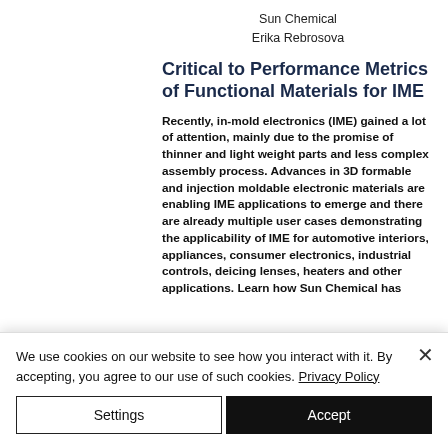Sun Chemical
Erika Rebrosova
Critical to Performance Metrics of Functional Materials for IME
Recently, in-mold electronics (IME) gained a lot of attention, mainly due to the promise of thinner and light weight parts and less complex assembly process. Advances in 3D formable and injection moldable electronic materials are enabling IME applications to emerge and there are already multiple user cases demonstrating the applicability of IME for automotive interiors, appliances, consumer electronics, industrial controls, deicing lenses, heaters and other applications. Learn how Sun Chemical has leveraged its long-time expertise in in-mold
We use cookies on our website to see how you interact with it. By accepting, you agree to our use of such cookies. Privacy Policy
Settings
Accept